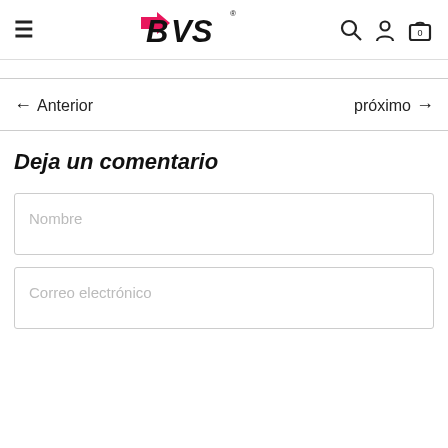[Figure (logo): BVS logo with pink arrow and black bold lettering, registered trademark symbol]
← Anterior
próximo →
Deja un comentario
Nombre
Correo electrónico